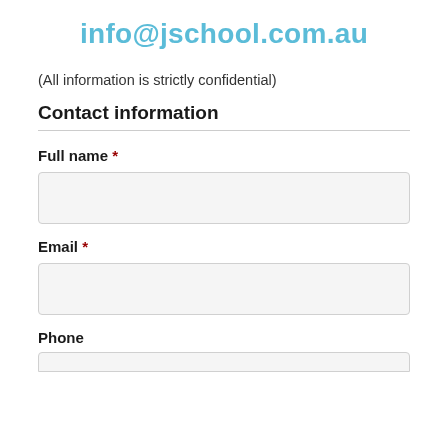info@jschool.com.au
(All information is strictly confidential)
Contact information
Full name *
Email *
Phone